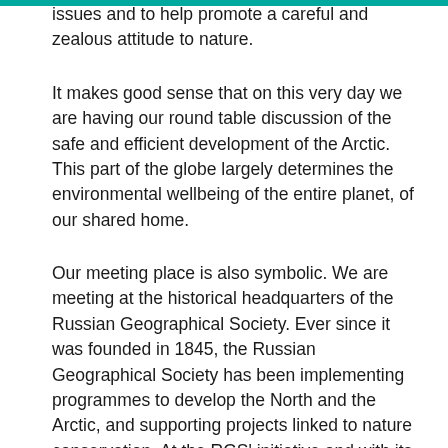issues and to help promote a careful and zealous attitude to nature.
It makes good sense that on this very day we are having our round table discussion of the safe and efficient development of the Arctic. This part of the globe largely determines the environmental wellbeing of the entire planet, of our shared home.
Our meeting place is also symbolic. We are meeting at the historical headquarters of the Russian Geographical Society. Ever since it was founded in 1845, the Russian Geographical Society has been implementing programmes to develop the North and the Arctic, and supporting projects linked to nature conservation. At the RGS' initiative and with its active participation we launched a massive 'spring cleaning' effort on our Arctic territories a few years ago.
This actually boils down to clearing the consequences of our past attitude to the Arctic, which was often thoughtless